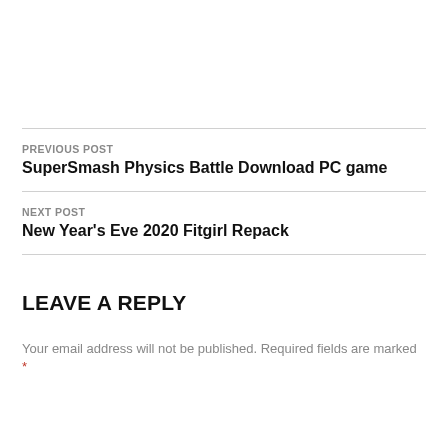PREVIOUS POST
SuperSmash Physics Battle Download PC game
NEXT POST
New Year's Eve 2020 Fitgirl Repack
LEAVE A REPLY
Your email address will not be published. Required fields are marked *